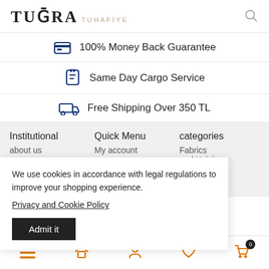TUGRA TUHAFIYE
100% Money Back Guarantee
Same Day Cargo Service
Free Shipping Over 350 TL
Institutional
Quick Menu
categories
about us
My account
Fabrics
and Knitting
ool
nitting
accessories
We use cookies in accordance with legal regulations to improve your shopping experience.
Privacy and Cookie Policy
Admit it
menu | home | account | favorites 0 | cart 0